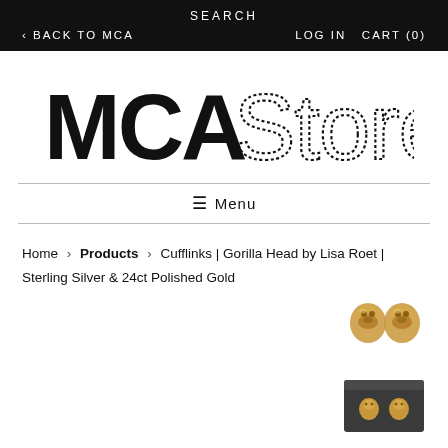SEARCH
< BACK TO MCA   LOG IN  CART (0)
[Figure (logo): MCA Store logo with bold MCA and dotted-style Store lettering]
☰ Menu
Home › Products › Cufflinks | Gorilla Head by Lisa Roet | Sterling Silver & 24ct Polished Gold
[Figure (photo): Gold gorilla head cufflinks shown from above on white background]
[Figure (photo): Gold gorilla head cufflinks shown in dark box packaging]